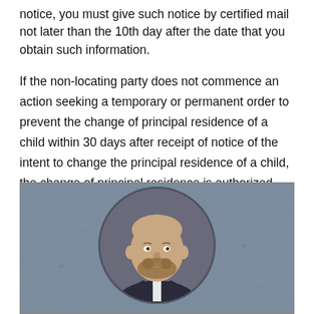notice, you must give such notice by certified mail not later than the 10th day after the date that you obtain such information.
If the non-locating party does not commence an action seeking a temporary or permanent order to prevent the change of principal residence of a child within 30 days after receipt of notice of the intent to change the principal residence of a child, the change of principal residence is authorized.
[Figure (photo): A circular portrait photo of a smiling bald man with a beard, wearing a dark suit jacket, white shirt, and black tie, set against a blue-grey textured background.]